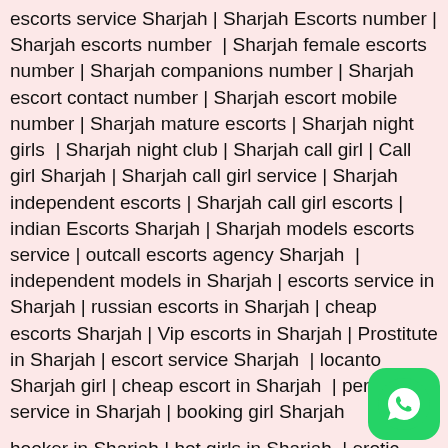escorts service Sharjah | Sharjah Escorts number | Sharjah escorts number | Sharjah female escorts number | Sharjah companions number | Sharjah escort contact number | Sharjah escort mobile number | Sharjah mature escorts | Sharjah night girls | Sharjah night club | Sharjah call girl | Call girl Sharjah | Sharjah call girl service | Sharjah independent escorts | Sharjah call girl escorts | indian Escorts Sharjah | Sharjah models escorts service | outcall escorts agency Sharjah | independent models in Sharjah | escorts service in Sharjah | russian escorts in Sharjah | cheap escorts Sharjah | Vip escorts in Sharjah | Prostitute in Sharjah | escort service Sharjah | locanto Sharjah girl | cheap escort in Sharjah | personal service in Sharjah | booking girl Sharjah
hooker in Sharjah | hot girls in Sharjah | erotic Escorts in Sharjah | Sharjah prostitutes | Female Escorts in Sharjah | prostitutes in Sharjah | indian Escorts in Sharjah | independent escort In Sharjah | sexy girls Sharjah | prostitute in Sharjah | girl service in Sharjah
[Figure (logo): WhatsApp green rounded square icon in the bottom right corner]